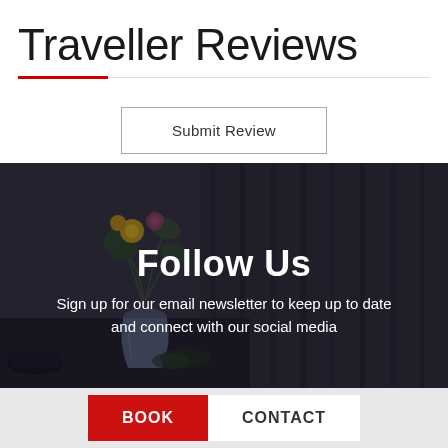Traveller Reviews
Submit Review
[Figure (photo): Dark photo of an interior room with a white vase containing yellow and other colored flowers on a table, dark curtains in the background, low lighting, moody atmosphere.]
Follow Us
Sign up for our email newsletter to keep up to date and connect with our social media
BOOK   CONTACT